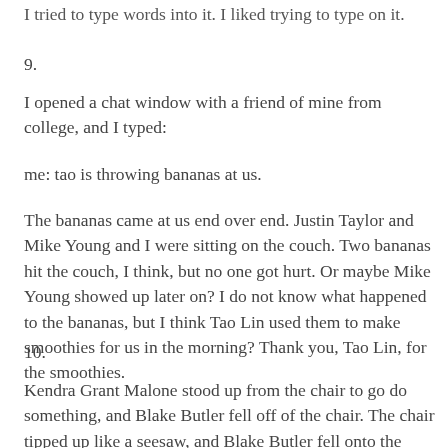I tried to type words into it. I liked trying to type on it.
9.
I opened a chat window with a friend of mine from college, and I typed:
me: tao is throwing bananas at us.
The bananas came at us end over end. Justin Taylor and Mike Young and I were sitting on the couch. Two bananas hit the couch, I think, but no one got hurt. Or maybe Mike Young showed up later on? I do not know what happened to the bananas, but I think Tao Lin used them to make smoothies for us in the morning? Thank you, Tao Lin, for the smoothies.
10.
Kendra Grant Malone stood up from the chair to go do something, and Blake Butler fell off of the chair. The chair tipped up like a seesaw, and Blake Butler fell onto the floor.